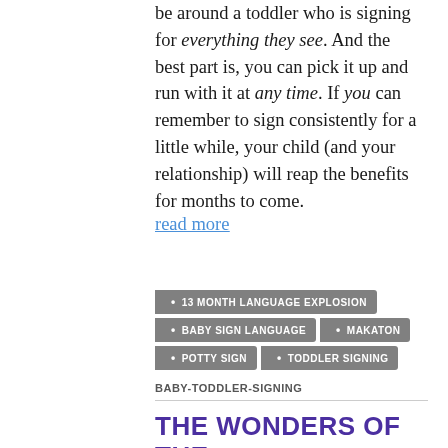be around a toddler who is signing for everything they see. And the best part is, you can pick it up and run with it at any time. If you can remember to sign consistently for a little while, your child (and your relationship) will reap the benefits for months to come.
read more
13 MONTH LANGUAGE EXPLOSION
BABY SIGN LANGUAGE
MAKATON
POTTY SIGN
TODDLER SIGNING
BABY-TODDLER-SIGNING
THE WONDERS OF THE